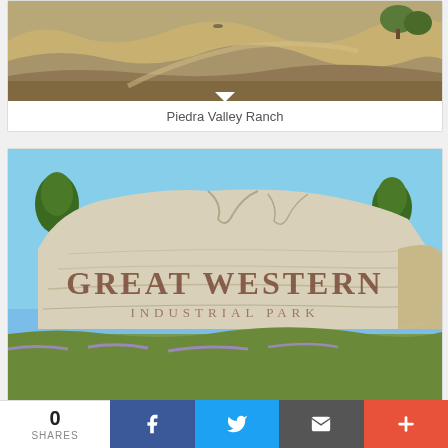[Figure (photo): Aerial view of Piedra Valley Ranch — brown rolling hills with sparse green trees and a dirt road winding through dry grassland]
Piedra Valley Ranch
[Figure (photo): Entrance sign for Great Western Industrial Park — a large rough-cut stone monument with 'GREAT WESTERN INDUSTRIAL PARK' carved into it, flanked by green trees against a blue sky]
0 SHARES